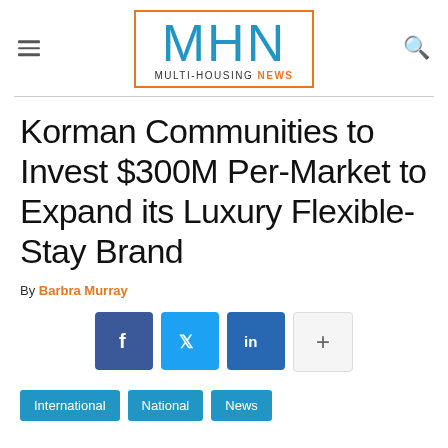MHN MULTI-HOUSING NEWS
Korman Communities to Invest $300M Per-Market to Expand its Luxury Flexible-Stay Brand
By Barbra Murray
[Figure (other): Social share buttons: Facebook, Twitter, LinkedIn, and a plus/more button]
International
National
News